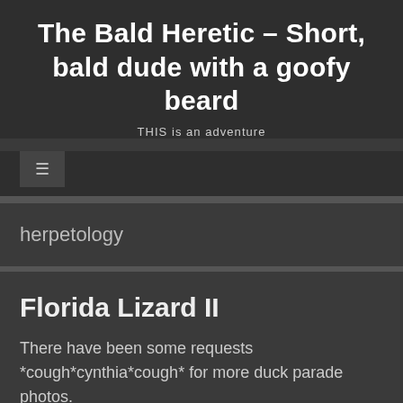The Bald Heretic – Short, bald dude with a goofy beard
THIS is an adventure
≡
herpetology
Florida Lizard II
There have been some requests *cough*cynthia*cough* for more duck parade photos.
Perhaps tomorrow I will be able to sneak away and get a few